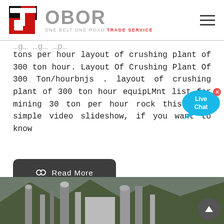[Figure (logo): OBOR Trade Service logo with TS icon in red/black and OBOR text in grey, subtitle ONE BELT ONE ROAD TRADE SERVICE]
tons per hour layout of crushing plant of 300 ton hour. Layout Of Crushing Plant Of 300 Ton/hourbnjs . layout of crushing plant of 300 ton hour equipLMnt list for mining 30 ton per hour rock this is a simple video slideshow, if you want to know
[Figure (illustration): Live Chat bubble in cyan/blue color with 'Live Chat' text and close button]
[Figure (other): Read More button in dark grey with chain link icon]
[Figure (photo): Photograph of industrial crushing plant facility with silos and machinery against mountain background]